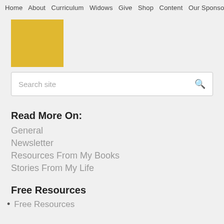Home  About  Curriculum  Widows  Give  Shop  Content  Our Sponsors
[Figure (logo): Yellow square logo placeholder]
Search site
Read More On:
General
Newsletter
Resources From My Books
Stories From My Life
Free Resources
Free Resources